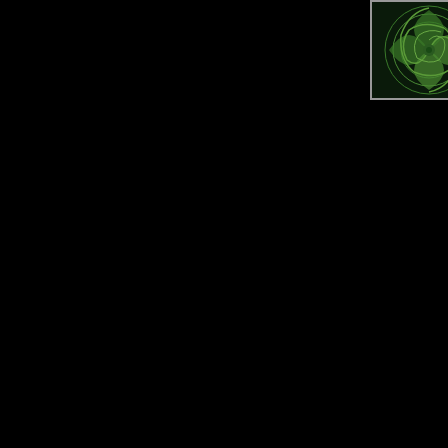[Figure (illustration): A green swirling spiral pattern logo or avatar image, framed with a light border, positioned in the upper right area of the black page.]
Station Manager Ken: The "marijuana track features Frank Zappa's "Zomby Woof," not "Dinah-Moe Humm". You can hear the name twice between the announc fade-